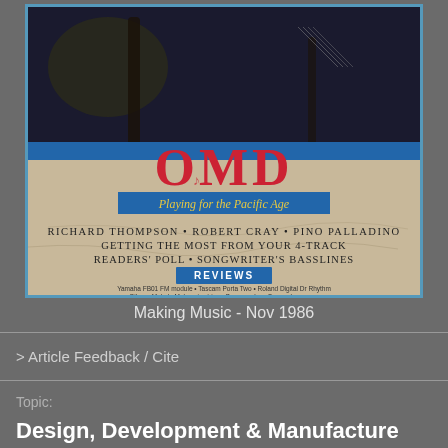[Figure (photo): Magazine cover of Making Music, November 1986. Features OMD 'Playing for the Pacific Age' with a blue border. Lists artists: Richard Thompson, Robert Cray, Pino Palladino. Topics include Getting the Most from Your 4-Track, Readers' Poll, Songwriter's Basslines. Reviews section and tagline 'The Free Musicians' Magazine'.]
Making Music  -  Nov 1986
> Article Feedback / Cite
Topic:
Design, Development & Manufacture